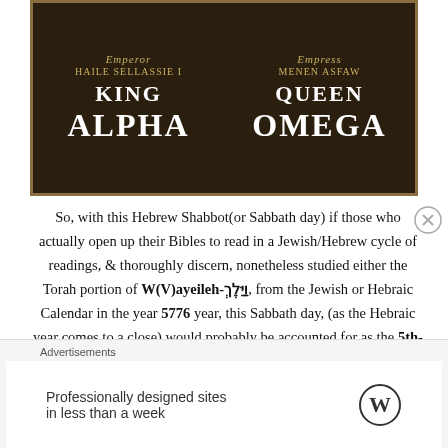[Figure (photo): Dark decorative image with golden border showing Emperor Haile Sellassie I as King Alpha on the left and Empress Menen Asfaw as Queen Omega on the right, in gold and white text on a dark brown background.]
So, with this Hebrew Shabbot(or Sabbath day) if those who actually open up their Bibles to read in a Jewish/Hebrew cycle of readings, & thoroughly discern, nonetheless studied either the Torah portion of W(V)ayeileh-וַיֵּלֶךְ, from the Jewish or Hebraic Calendar in the year 5776 year, this Sabbath day, (as the Hebraic year comes to a close) would probably be accounted for as the 5th-ה, & the 6th-ו, day of the Hebrew month
Advertisements
Professionally designed sites in less than a week